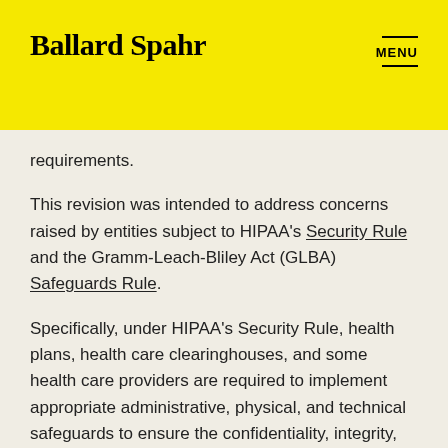Ballard Spahr | MENU
requirements.
This revision was intended to address concerns raised by entities subject to HIPAA's Security Rule and the Gramm-Leach-Bliley Act (GLBA) Safeguards Rule.
Specifically, under HIPAA's Security Rule, health plans, health care clearinghouses, and some health care providers are required to implement appropriate administrative, physical, and technical safeguards to ensure the confidentiality, integrity, and security of electronic protected health information. Similarly, GLBA's